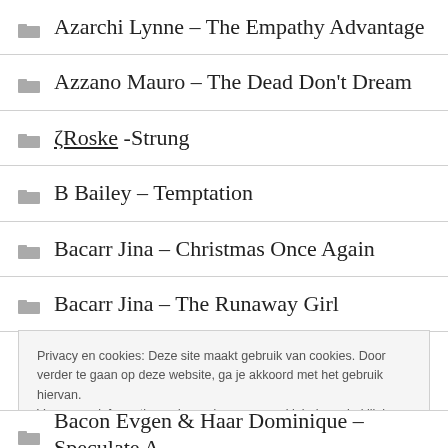Azarchi Lynne – The Empathy Advantage
Azzano Mauro – The Dead Don't Dream
ζRoske -Strung
B Bailey – Temptation
Bacarr Jina – Christmas Once Again
Bacarr Jina – The Runaway Girl
Privacy en cookies: Deze site maakt gebruik van cookies. Door verder te gaan op deze website, ga je akkoord met het gebruik hiervan.
Voor meer informatie, onder andere over cookiebeheer, bekijk je:
Cookiebeleid
Sluiten en bevestigen
Bacon Evgen & Haar Dominique – Speculate A...